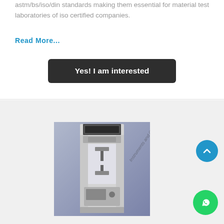astm/bs/iso/din standards making them essential for material test laboratories of iso certified companies.
Read More...
Yes! I am interested
[Figure (photo): A universal testing machine / tensile testing equipment shown in a product image with a diagonal watermark text reading 'Instruments and Controls']